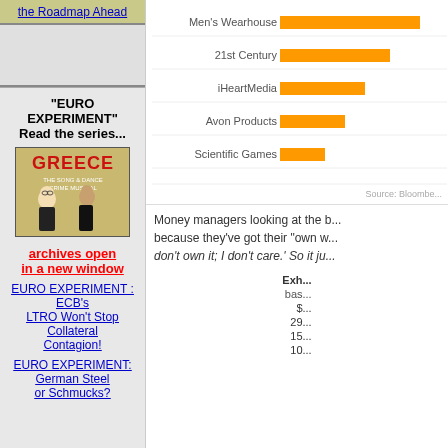the Roadmap Ahead
[Figure (illustration): Greece-themed parody movie poster illustration showing characters dressed in black]
"EURO EXPERIMENT"
Read the series...
archives open
in a new window
EURO EXPERIMENT :  ECB's LTRO Won't Stop Collateral Contagion!
EURO EXPERIMENT: German Steel or Schmucks?
[Figure (bar-chart): Companies listed with orange bars]
Source: Bloombe...
Money managers looking at the b... because they've got their "own w... don't own it; I don't care.' So it ju...
Exh...
bas...
$...
29...
15...
10...